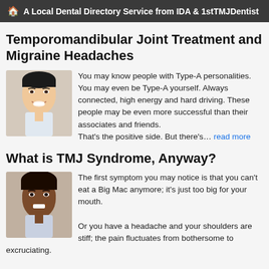A Local Dental Directory Service from IDA & 1stTMJDentist
Temporomandibular Joint Treatment and Migraine Headaches
You may know people with Type-A personalities. You may even be Type-A yourself. Always connected, high energy and hard driving. These people may be even more successful than their associates and friends. That's the positive side. But there's… read more
What is TMJ Syndrome, Anyway?
The first symptom you may notice is that you can't eat a Big Mac anymore; it's just too big for your mouth. Or you have a headache and your shoulders are stiff; the pain fluctuates from bothersome to excruciating. Or chewing gum becomes torture, and you find yourself… read more